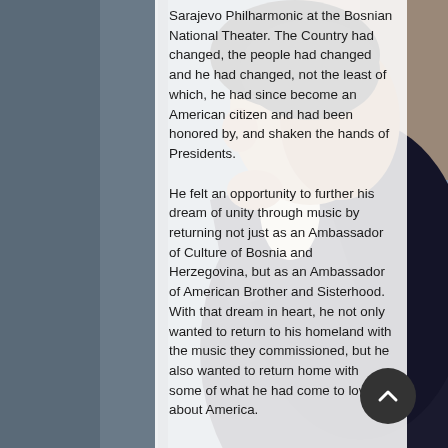[Figure (photo): A man in a dark navy jacket with slicked-back dark hair, photographed from behind/side, against a blurred brick wall background. The left side of the image is darker (outdoor urban setting). The photo is partially obscured by a white semi-transparent text overlay.]
Sarajevo Philharmonic at the Bosnian National Theater.  The Country had changed, the people had changed and he had changed, not the least of which, he had since become an American citizen and had been honored by, and shaken the hands of Presidents.

He felt an opportunity to further his dream of unity through music by returning not just as an Ambassador of Culture of Bosnia and Herzegovina, but as an Ambassador of American Brother and Sisterhood.  With that dream in heart, he not only wanted to return to his homeland with the music they commissioned, but he also wanted to return home with some of what he had come to love about America.